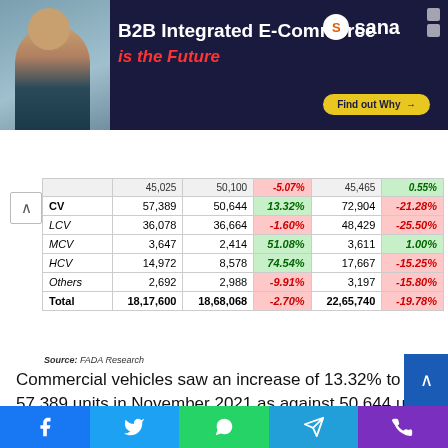[Figure (screenshot): Advertisement banner for Sana B2B Integrated E-Commerce with dark navy background, person photo on left, headline text and Find out Why button]
|  | Nov 2021 | Nov 2020 | YoY% | Apr-Nov 2021 | YoY% |
| --- | --- | --- | --- | --- | --- |
|  | 45,025 | 50,100 | -5.07% | 45,465 | 0.55% |
| CV | 57,389 | 50,644 | 13.32% | 72,904 | -21.28% |
| LCV | 36,078 | 36,664 | -1.60% | 48,429 | -25.50% |
| MCV | 3,647 | 2,414 | 51.08% | 3,611 | 1.00% |
| HCV | 14,972 | 8,578 | 74.54% | 17,667 | -15.25% |
| Others | 2,692 | 2,988 | -9.91% | 3,197 | -15.80% |
| Total | 18,17,600 | 18,68,068 | -2.70% | 22,65,740 | -19.78% |
Source: FADA Research
Commercial vehicles saw an increase of 13.32% to 57,389 units in November 2021 as against 50,644 units in November 2020. While the LCV segment saw a YoY decline of 1.60%, MCV and HCV recorded a growth of 51.08% and 74.54% respectively.
According to the FADA President, the CV segment continues to see traction in the M & HCV segment. Aided by a low base...